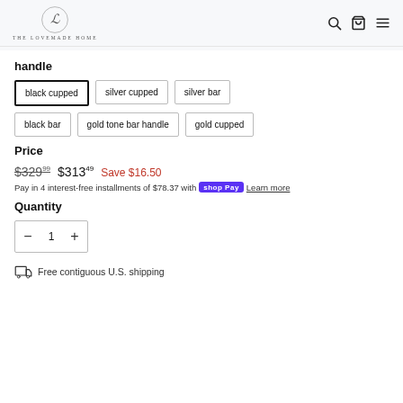THE LOVEMADE HOME
handle
black cupped (selected)
silver cupped
silver bar
black bar
gold tone bar handle
gold cupped
Price
$329.99  $313.49  Save $16.50
Pay in 4 interest-free installments of $78.37 with Shop Pay  Learn more
Quantity
1
Free contiguous U.S. shipping